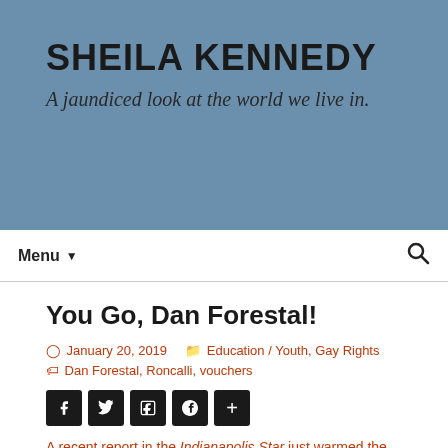SHEILA KENNEDY
A jaundiced look at the world we live in.
Menu ▼
You Go, Dan Forestal!
January 20, 2019   Education / Youth, Gay Rights   Dan Forestal, Roncalli, vouchers
A recent report in the Indianapolis Star just warmed the